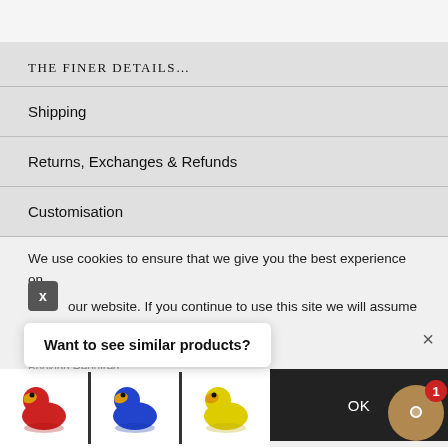THE FINER DETAILS...
Shipping
Returns, Exchanges & Refunds
Customisation
We use cookies to ensure that we give you the best experience on our website. If you continue to use this site we will assume that you are happy with it.
Want to see similar products?
Booking Required
OK
[Figure (photo): Three rubber ducks: red, blue, and yellow, shown in a row at the bottom of the page.]